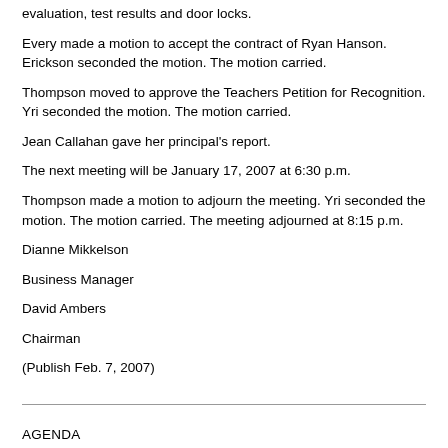evaluation, test results and door locks.
Every made a motion to accept the contract of Ryan Hanson. Erickson seconded the motion. The motion carried.
Thompson moved to approve the Teachers Petition for Recognition. Yri seconded the motion. The motion carried.
Jean Callahan gave her principal's report.
The next meeting will be January 17, 2007 at 6:30 p.m.
Thompson made a motion to adjourn the meeting. Yri seconded the motion. The motion carried. The meeting adjourned at 8:15 p.m.
Dianne Mikkelson
Business Manager
David Ambers
Chairman
(Publish Feb. 7, 2007)
AGENDA